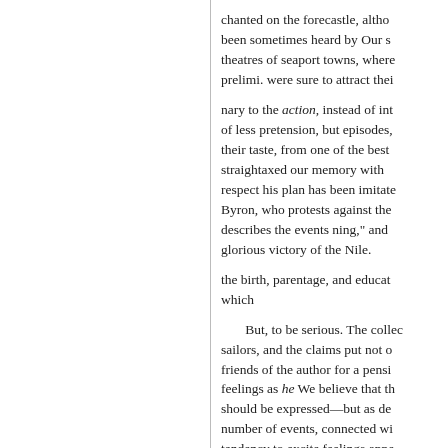chanted on the forecastle, altho been sometimes heard by Our s theatres of seaport towns, where prelimi. were sure to attract thei
nary to the action, instead of int of less pretension, but episodes, their taste, from one of the best straightaxed our memory with respect his plan has been imitate Byron, who protests against the describes the events ning," and glorious victory of the Nile.
the birth, parentage, and educat which
But, to be serious. The collec sailors, and the claims put not o friends of the author for a pensi feelings as he We believe that th should be expressed—but as de number of events, connected wi tendency to excite feelings appe heroism, and generosity, in the